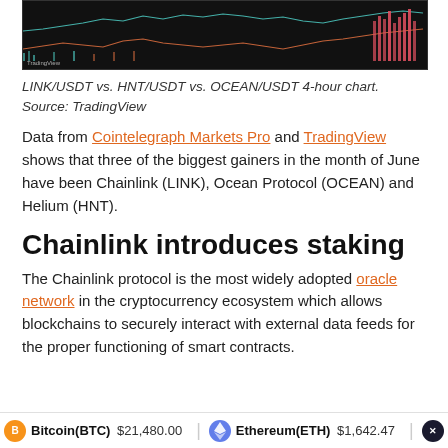[Figure (screenshot): LINK/USDT vs. HNT/USDT vs. OCEAN/USDT 4-hour price chart with candlestick/line data on dark background. Source: TradingView]
LINK/USDT vs. HNT/USDT vs. OCEAN/USDT 4-hour chart. Source: TradingView
Data from Cointelegraph Markets Pro and TradingView shows that three of the biggest gainers in the month of June have been Chainlink (LINK), Ocean Protocol (OCEAN) and Helium (HNT).
Chainlink introduces staking
The Chainlink protocol is the most widely adopted oracle network in the cryptocurrency ecosystem which allows blockchains to securely interact with external data feeds for the proper functioning of smart contracts.
Bitcoin(BTC) $21,480.00   Ethereum(ETH) $1,642.47   XR...